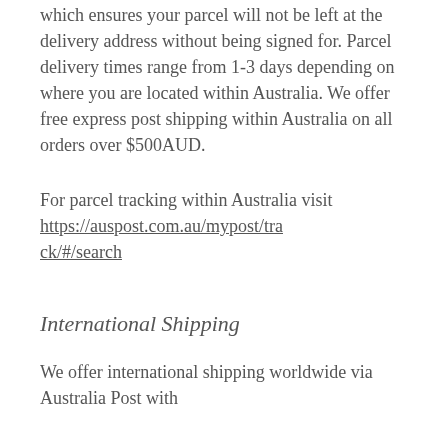which ensures your parcel will not be left at the delivery address without being signed for. Parcel delivery times range from 1-3 days depending on where you are located within Australia. We offer free express post shipping within Australia on all orders over $500AUD.
For parcel tracking within Australia visit https://auspost.com.au/mypost/track/#/search
International Shipping
We offer international shipping worldwide via Australia Post with